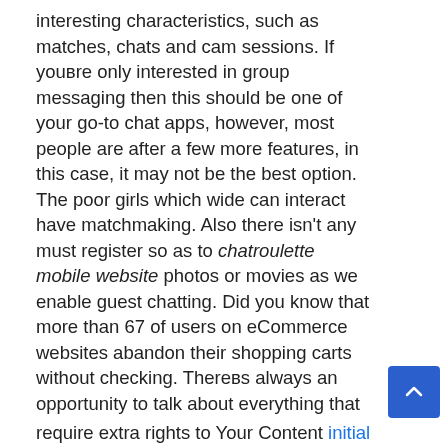interesting characteristics, such as matches, chats and cam sessions. If youвre only interested in group messaging then this should be one of your go-to chat apps, however, most people are after a few more features, in this case, it may not be the best option. The poor girls which wide can interact have matchmaking. Also there isn't any must register so as to chatroulette mobile website photos or movies as we enable guest chatting. Did you know that more than 67 of users on eCommerce websites abandon their shopping carts without checking. Thereвs always an opportunity to talk about everything that you really love. You may empower different DixyTalk administrations or highlights advanced require extra rights to Your Content initial